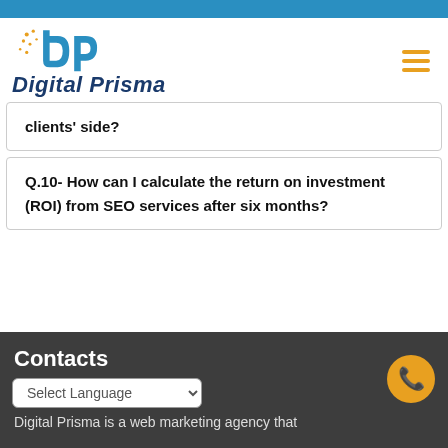[Figure (logo): Digital Prisma logo with stylized 'dp' letters in blue and orange colors, followed by bold italic text 'Digital Prisma' in dark navy blue]
clients' side?
Q.10- How can I calculate the return on investment (ROI) from SEO services after six months?
Contacts
Digital Prisma is a web marketing agency that